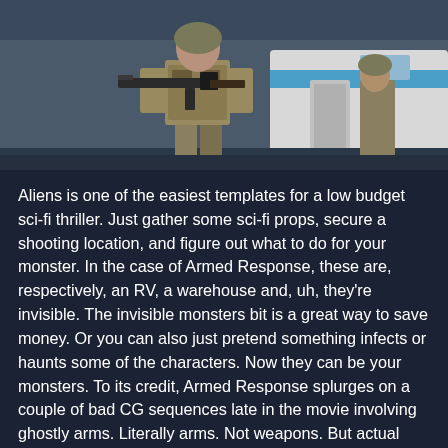[Figure (photo): A soldier in tactical gear holding an assault rifle, standing near a white vehicle (RV or bus). Another soldier visible in background near a bus with blue stripe.]
Aliens is one of the easiest templates for a low budget sci-fi thriller. Just gather some sci-fi props, secure a shooting location, and figure out what to do for your monster. In the case of Armed Response, these are, respectively, an RV, a warehouse and, uh, they're invisible. The invisible monsters bit is a great way to save money. Or you can also just pretend something infects or haunts some of the characters. Now they can be your monsters. To its credit, Armed Response splurges on a couple of bad CG sequences late in the movie involving ghostly arms. Literally arms. Not weapons. But actual arms. That's your reward for sticking with it.
Armed Response's unique contribution is a guy who looks like Matthew Fox. "Is that Matthew Fox?" you're thinking one scene. "Nah," you realize the next scene. Then a scene later you're all,